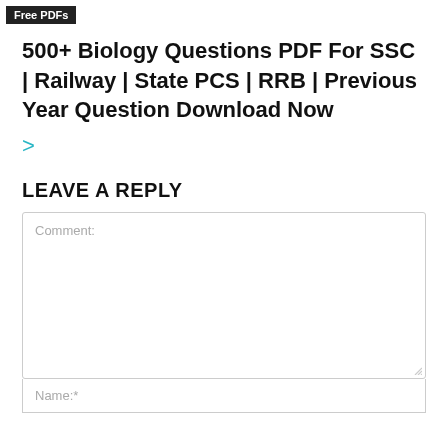Free PDFs
500+ Biology Questions PDF For SSC | Railway | State PCS | RRB | Previous Year Question Download Now
>
LEAVE A REPLY
Comment:
Name:*